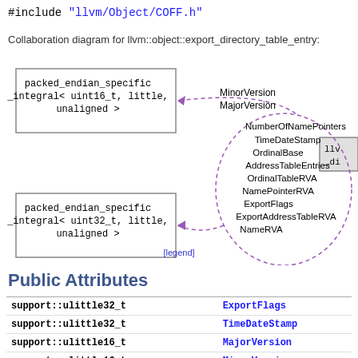#include "llvm/Object/COFF.h"
Collaboration diagram for llvm::object::export_directory_table_entry:
[Figure (engineering-diagram): Collaboration diagram showing packed_endian_specific_integral<uint16_t, little, unaligned> and packed_endian_specific_integral<uint32_t, little, unaligned> nodes connected via dashed purple arrows to llvm::object::export_directory_table_entry (partially visible on right). Labels on arrows include MinorVersion, MajorVersion (top arrow) and NumberOfNamePointers, TimeDateStamp, OrdinalBase, AddressTableEntries, OrdinalTableRVA, NamePointerRVA, ExportFlags, ExportAddressTableRVA, NameRVA (bottom arrow). A [legend] link appears below.]
Public Attributes
| Type | Name |
| --- | --- |
| support::ulittle32_t | ExportFlags |
| support::ulittle32_t | TimeDateStamp |
| support::ulittle16_t | MajorVersion |
| support::ulittle16_t | MinorVersion |